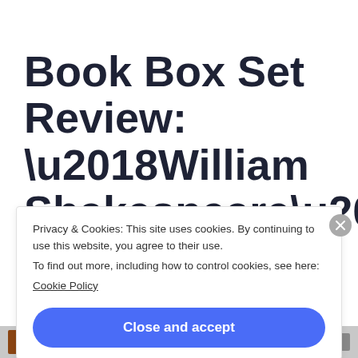Book Box Set Review: ‘William Shakespeare’s Star Wars Trilogy: The
Privacy & Cookies: This site uses cookies. By continuing to use this website, you agree to their use. To find out more, including how to control cookies, see here: Cookie Policy
Close and accept